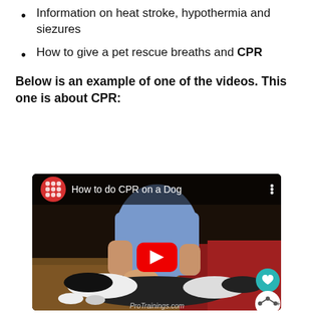Information on heat stroke, hypothermia and siezures
How to give a pet rescue breaths and CPR
Below is an example of one of the videos. This one is about CPR:
[Figure (screenshot): YouTube video thumbnail showing a person performing CPR on a dog lying on a carpet. The video is titled 'How to do CPR on a Dog' with a ProTrainings.com watermark. A red YouTube play button is centered. A teal heart icon and white share icon appear in the bottom right corner.]